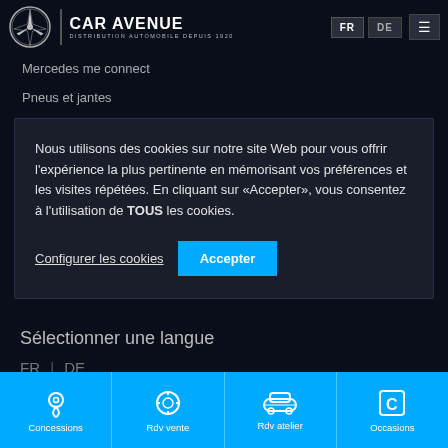CAR AVENUE — DISTRIBUTION AUTOMOBILE DEPUIS 1920 | FR | DE
Mercedes me connect
Pneus et jantes
5-Star Rating
Nous utilisons des cookies sur notre site Web pour vous offrir l'expérience la plus pertinente en mémorisant vos préférences et les visites répétées. En cliquant sur «Accepter», vous consentez à l'utilisation de TOUS les cookies.
Configurer les cookies | Accepter
Sélectionner une langue
FR | DE
Concessions | Rdv vente | Rdv atelier | Occasions